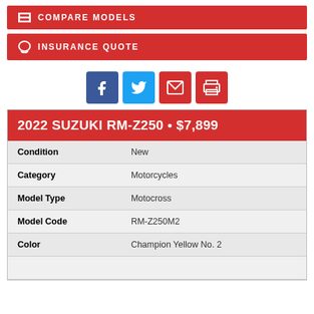COMPARE MODELS
INSURANCE QUOTE
[Figure (other): Social share icons: Facebook, Twitter, Email, Print]
2022 SUZUKI RM-Z250 • $7,899
| Condition | New |
| Category | Motorcycles |
| Model Type | Motocross |
| Model Code | RM-Z250M2 |
| Color | Champion Yellow No. 2 |